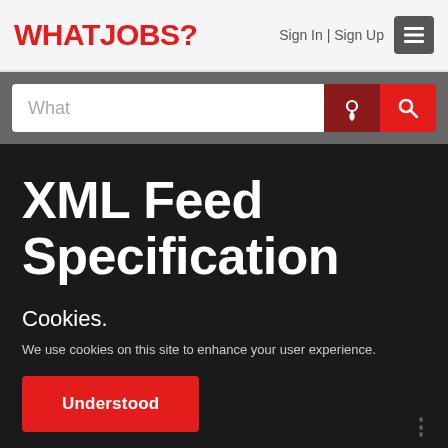WHATJOBS? Sign In | Sign Up
[Figure (screenshot): Search bar with What placeholder, location pin button, and search button]
XML Feed Specification
Cookies.
We use cookies on this site to enhance your user experience.
Understood